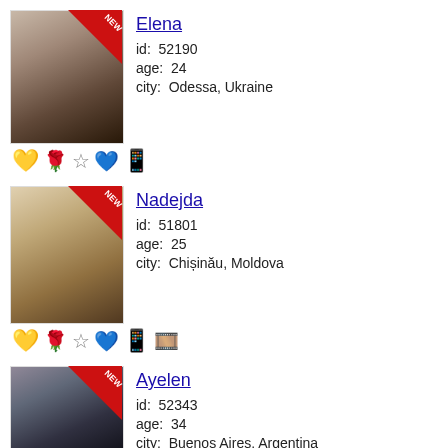[Figure (photo): Profile photo of Elena, blonde woman, with NEW ribbon badge]
Elena
id: 52190
age: 24
city: Odessa, Ukraine
[Figure (infographic): Action icons row: envelope, rose, star, gift box, phone]
[Figure (photo): Profile photo of Nadejda, blonde woman with red lipstick, with NEW ribbon badge]
Nadejda
id: 51801
age: 25
city: Chișinău, Moldova
[Figure (infographic): Action icons row: envelope, rose, star, gift box, phone, camera]
[Figure (photo): Profile photo of Ayelen, dark-haired woman, with NEW ribbon badge]
Ayelen
id: 52343
age: 34
city: Buenos Aires, Argentina